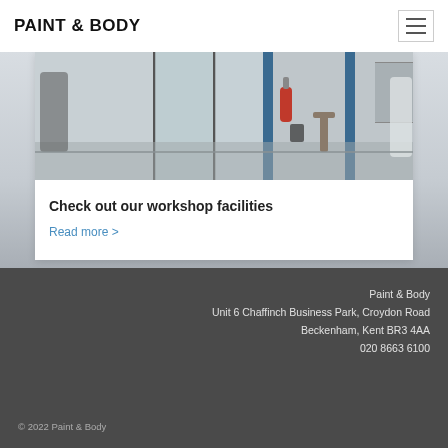PAINT & BODY
[Figure (photo): Interior of a car body repair workshop showing glass partitions, blue steel columns, a red fire extinguisher, trolley jack, and workers in white overalls on a grey floor]
Check out our workshop facilities
Read more >
Paint & Body
Unit 6 Chaffinch Business Park, Croydon Road
Beckenham, Kent BR3 4AA
020 8663 6100
© 2022 Paint & Body